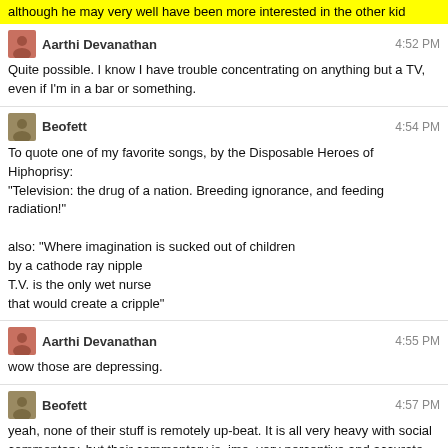although he may very well have been more interested in the other kid
Aarthi Devanathan 4:52 PM
Quite possible. I know I have trouble concentrating on anything but a TV, even if I'm in a bar or something.
Beofett 4:54 PM
To quote one of my favorite songs, by the Disposable Heroes of Hiphoprisy: "Television: the drug of a nation. Breeding ignorance, and feeding radiation!"
also: "Where imagination is sucked out of children
by a cathode ray nipple
T.V. is the only wet nurse
that would create a cripple"
Aarthi Devanathan 4:55 PM
wow those are depressing.
Beofett 4:57 PM
yeah, none of their stuff is remotely up-beat. It is all very heavy with social commentary, but their commentary is, imo, very perceptive and accurate (and not at all flattering)
Aarthi Devanathan 4:57 PM
I...okay wow.
that's too heavy for me, man
Beofett 5:01 PM
the irony is that I'm very much looking forward to watching TV with Hunter when he's old enough